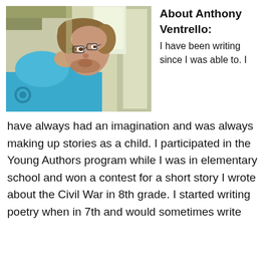[Figure (photo): A sideways selfie of a person with glasses and brown hair wearing a light blue hoodie, taken indoors near a doorway.]
About Anthony Ventrello: I have been writing since I was able to. I have always had an imagination and was always making up stories as a child. I participated in the Young Authors program while I was in elementary school and won a contest for a short story I wrote about the Civil War in 8th grade. I started writing poetry when in 7th and would sometimes write the...